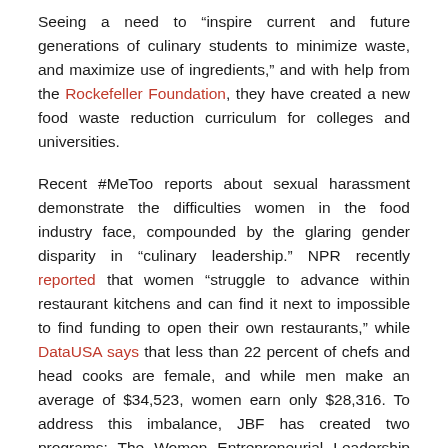Seeing a need to “inspire current and future generations of culinary students to minimize waste, and maximize use of ingredients,” and with help from the Rockefeller Foundation, they have created a new food waste reduction curriculum for colleges and universities.
Recent #MeToo reports about sexual harassment demonstrate the difficulties women in the food industry face, compounded by the glaring gender disparity in “culinary leadership.” NPR recently reported that women “struggle to advance within restaurant kitchens and can find it next to impossible to find funding to open their own restaurants,” while DataUSA says that less than 22 percent of chefs and head cooks are female, and while men make an average of $34,523, women earn only $28,316. To address this imbalance, JBF has created two programs: The Women Entrepreneurial Leadership (WEL) program, with its focus on increasing female entrepreneurs and restaurant owners, and the Women in Culinary Leadership program, with its emphasis on women at the “start of their careers.” For these programs, JBF reached to find support from Audi, as well as restaurateur Rohini